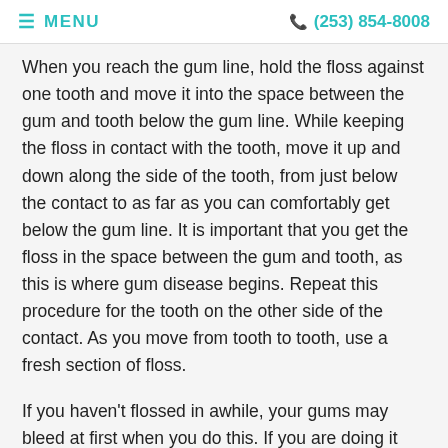MENU  (253) 854-8008
When you reach the gum line, hold the floss against one tooth and move it into the space between the gum and tooth below the gum line. While keeping the floss in contact with the tooth, move it up and down along the side of the tooth, from just below the contact to as far as you can comfortably get below the gum line. It is important that you get the floss in the space between the gum and tooth, as this is where gum disease begins. Repeat this procedure for the tooth on the other side of the contact. As you move from tooth to tooth, use a fresh section of floss.
If you haven't flossed in awhile, your gums may bleed at first when you do this. If you are doing it correctly, and at least once a day, your gum will start to heal and the bleeding should stop in no more than 2 weeks.